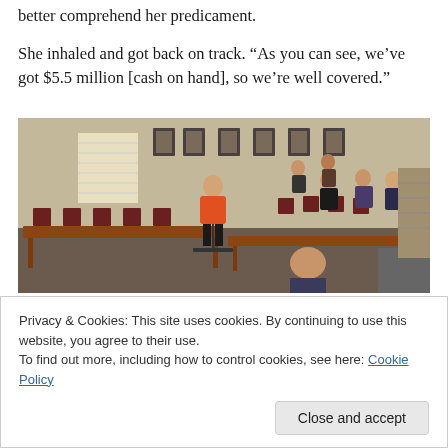better comprehend her predicament.
She inhaled and got back on track. “As you can see, we’ve got $5.5 million [cash on hand], so we’re well covered.”
[Figure (photo): A woman in a red top stands at a podium or microphone in a meeting room with rows of chairs, presenting to a small group of people seated at tables. Framed pictures hang on the walls in the background.]
Privacy & Cookies: This site uses cookies. By continuing to use this website, you agree to their use.
To find out more, including how to control cookies, see here: Cookie Policy